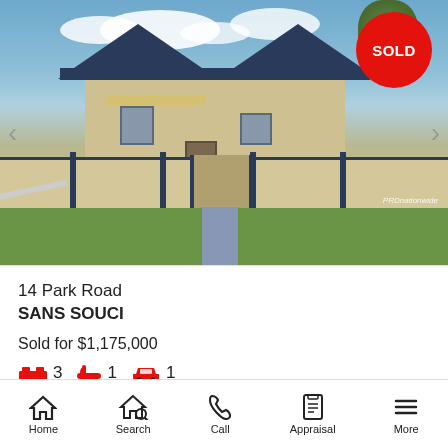[Figure (photo): Exterior photo of a single-storey house with cream/beige siding, dark fence posts, blue pathway, and green lawn. A red 'SOLD' badge appears in the top-right corner. Navigation arrows are visible on the left and right sides.]
14 Park Road
SANS SOUCI
Sold for $1,175,000
3  1  1
Home  Search  Call  Appraisal  More